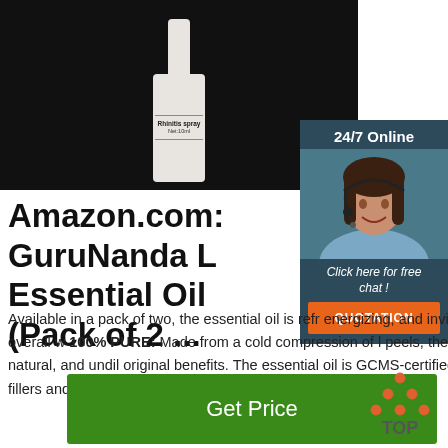[Figure (photo): Product photo: white rhinitis spray bottle labeled 'Rhinitis spray Net:10ml' on black background]
[Figure (photo): 24/7 Online customer support chat widget with photo of woman with headset, 'Click here for free chat!' text and orange QUOTATION button]
Amazon.com: GuruNanda L Essential Oil (Pack of 2 ...
Available in a pack of two, the essential oil is refr energizing, and invigorating to promote overall w 100% PURE: Made from a cold compression of l peels, the essential oil is pure, natural, and undil original benefits. The essential oil is GCMS-certified and does not contain fillers and additives in the ...
[Figure (logo): TOP logo — orange triangular dots above text 'TOP']